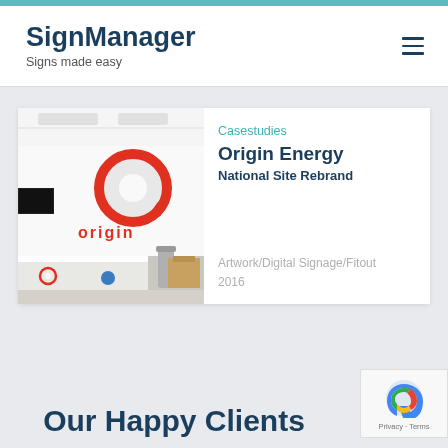SignManager — Signs made easy
Casestudies
Origin Energy
National Site Rebrand
[Figure (photo): Interior photo of an Origin Energy office/reception area showing the Origin logo (red circular O shape) and 'origin' branding text on a white wall. Reception desk and office furnishings visible.]
Artwork/Digital Signage/Fitout
2016
Our Happy Clients